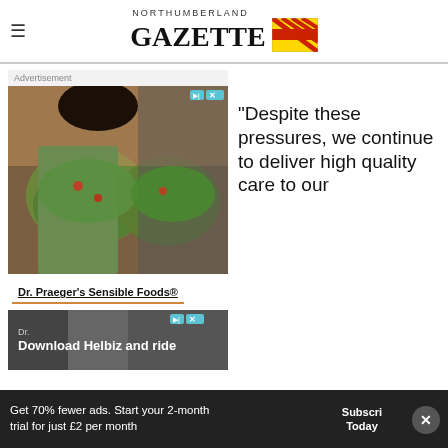NORTHUMBERLAND GAZETTE
[Figure (other): Advertisement block showing Dr. Praeger's Sensible Foods with photo of women eating salads]
“Despite these pressures, we continue to deliver high quality care to our across our trust thanks to the hard work of our
[Figure (other): Download Helbiz and ride advertisement banner]
Get 70% fewer ads. Start your 2-month trial for just £2 per month
Subscribe Today